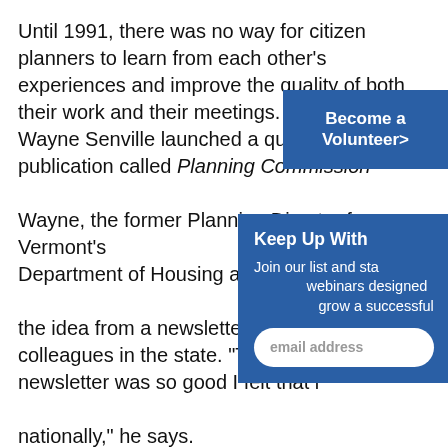Until 1991, there was no way for citizen planners to learn from each other's experiences and improve the quality of both their work and their meetings. That's when Wayne Senville launched a quarterly publication called Planning Commission... Wayne, the former Planning Director for Vermont's Department of Housing and Community Affairs, got the idea from a newsletter he had circulated to colleagues in the state. "The response to that newsletter was so good I felt that it could be done nationally," he says.
Become a Volunteer>
Keep Up With Join our list and stay informed about webinars designed to help you grow a successful
Planning Commissioners Journal includes columns and features offering practical advice about issues such as population growth and land development, running effective meetings, resource conservation,